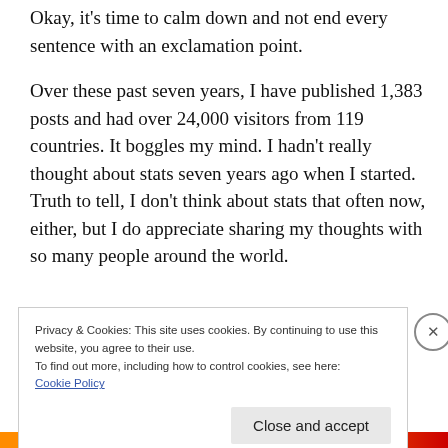Okay, it's time to calm down and not end every sentence with an exclamation point.
Over these past seven years, I have published 1,383 posts and had over 24,000 visitors from 119 countries. It boggles my mind. I hadn't really thought about stats seven years ago when I started. Truth to tell, I don't think about stats that often now, either, but I do appreciate sharing my thoughts with so many people around the world.
Privacy & Cookies: This site uses cookies. By continuing to use this website, you agree to their use.
To find out more, including how to control cookies, see here:
Cookie Policy